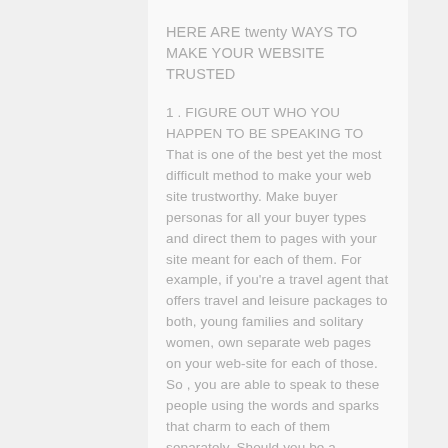HERE ARE twenty WAYS TO MAKE YOUR WEBSITE TRUSTED
1 . FIGURE OUT WHO YOU HAPPEN TO BE SPEAKING TO That is one of the best yet the most difficult method to make your web site trustworthy. Make buyer personas for all your buyer types and direct them to pages with your site meant for each of them. For example, if you're a travel agent that offers travel and leisure packages to both, young families and solitary women, own separate web pages on your web-site for each of those. So , you are able to speak to these people using the words and sparks that charm to each of them separately. Should you be a marketing enterprise that offers a person service to